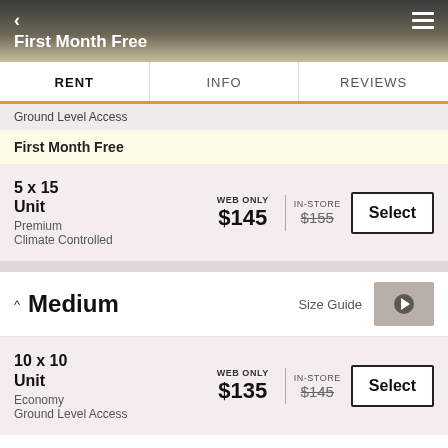Optim's Climate Controlled
First Month Free
RENT | INFO | REVIEWS
Ground Level Access
First Month Free
5 x 15 Unit
Premium
Climate Controlled
WEB ONLY $145 | IN-STORE $155
Medium
Size Guide
10 x 10 Unit
Economy
Ground Level Access
WEB ONLY $135 | IN-STORE $145